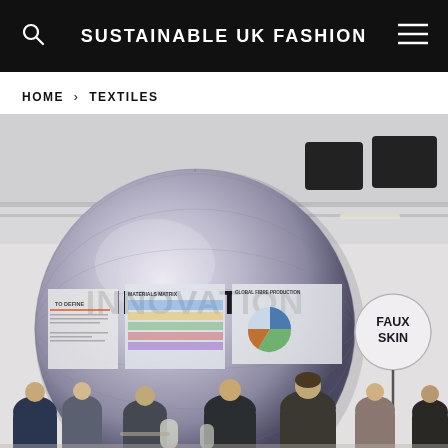SUSTAINABLE UK FASHION
HOME > TEXTILES
[Figure (photo): Exhibition hall with a large circular hanging sign reading 'INNOVATION' and a smaller circular sign reading 'FAUX SKIN'. People are browsing displays including infographic panels about materials matrix, global fibre production, with the backdrop of an industrial ceiling with track lighting and speakers.]